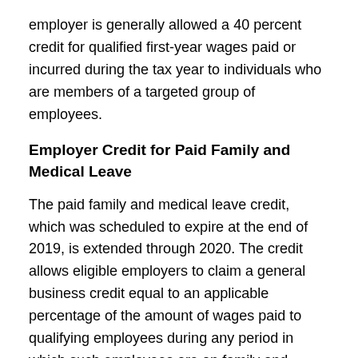employer is generally allowed a 40 percent credit for qualified first-year wages paid or incurred during the tax year to individuals who are members of a targeted group of employees.
Employer Credit for Paid Family and Medical Leave
The paid family and medical leave credit, which was scheduled to expire at the end of 2019, is extended through 2020. The credit allows eligible employers to claim a general business credit equal to an applicable percentage of the amount of wages paid to qualifying employees during any period in which such employees are on family and medical leave, provided that the rate of payment under the program is at least 50 percent of the wages normally paid to an employee.